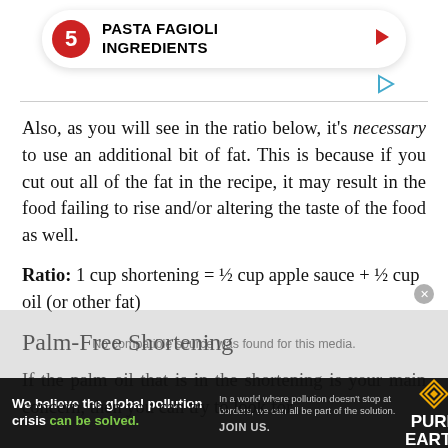[Figure (other): Pill-shaped card with red circle containing number 5, bold text 'PASTA FAGIOLI INGREDIENTS', and a red play arrow on the right]
Also, as you will see in the ratio below, it's necessary to use an additional bit of fat. This is because if you cut out all of the fat in the recipe, it may result in the food failing to rise and/or altering the taste of the food as well.
Ratio: 1 cup shortening = ½ cup apple sauce + ½ cup oil (or other fat)
Palm-Free Shortening
If the palm oil that is in the shortening is your main concern, then you can try to look for
[Figure (other): Advertisement banner for Pure Earth: 'We believe the global pollution crisis can be solved.' with Pure Earth logo]